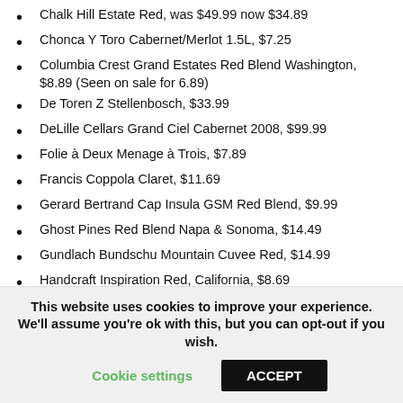Chalk Hill Estate Red, was $49.99 now $34.89
Chonca Y Toro Cabernet/Merlot 1.5L, $7.25
Columbia Crest Grand Estates Red Blend Washington, $8.89 (Seen on sale for 6.89)
De Toren Z Stellenbosch, $33.99
DeLille Cellars Grand Ciel Cabernet 2008, $99.99
Folie à Deux Menage à Trois, $7.89
Francis Coppola Claret, $11.69
Gerard Bertrand Cap Insula GSM Red Blend, $9.99
Ghost Pines Red Blend Napa & Sonoma, $14.49
Gundlach Bundschu Mountain Cuvee Red, $14.99
Handcraft Inspiration Red, California, $8.69
Hess Collection 19 Block Cuvee Mount Veeder, $24.89 – Recommended
This website uses cookies to improve your experience. We'll assume you're ok with this, but you can opt-out if you wish. Cookie settings ACCEPT